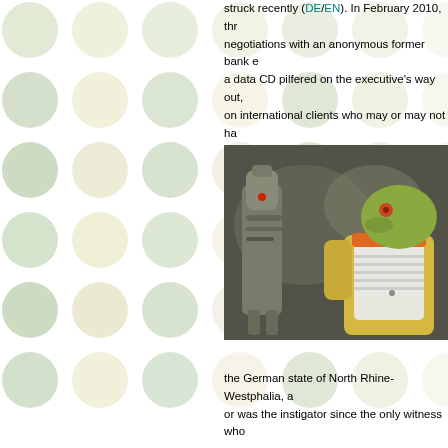[Figure (illustration): Decorative polka dot pattern background on the left half of the page, with circles in light green, sage, cream, and pale yellow tones arranged in a grid pattern.]
struck recently (DE/EN). In February 2010, three negotiations with an anonymous former bank executive, a data CD pilfered on the executive's way out, on international clients who may or may not have purposes of tax-evasion (the overwhelming count tax-dodgers are UK and American parking-spot reaching of jurisdiction by Britain and the US).
[Figure (photo): Photo of Star Wars action figures — a yellow/green alien figure (Bossk) in a white vest with orange collar, and a metallic droid figure (IG-88), posed against a dark textured background resembling carbonite.]
the German state of North Rhine-Westphalia, a or was the instigator since the only witness who